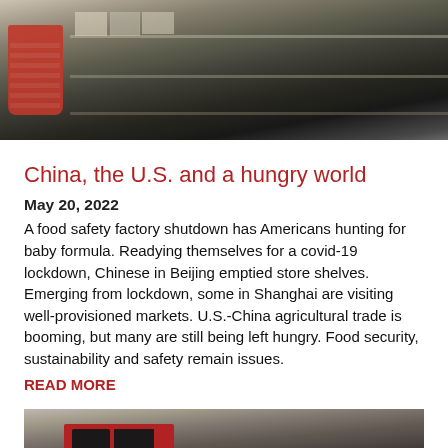[Figure (photo): Store shelves with products, shopping basket visible on left, shelves appear partially stocked]
China, the U.S. and a hungry world
May 20, 2022
A food safety factory shutdown has Americans hunting for baby formula. Readying themselves for a covid-19 lockdown, Chinese in Beijing emptied store shelves. Emerging from lockdown, some in Shanghai are visiting well-provisioned markets. U.S.-China agricultural trade is booming, but many are still being left hungry. Food security, sustainability and safety remain issues.
READ MORE
[Figure (photo): Red truck or shipping container, person visible, appears to be a freight/logistics scene]